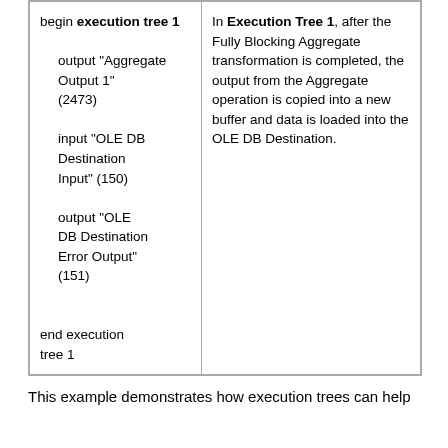| begin execution tree 1

    output "Aggregate Output 1" (2473)

    input "OLE DB Destination Input" (150)

    output "OLE DB Destination Error Output" (151)

end execution tree 1 | In Execution Tree 1, after the Fully Blocking Aggregate transformation is completed, the output from the Aggregate operation is copied into a new buffer and data is loaded into the OLE DB Destination. |
This example demonstrates how execution trees can help